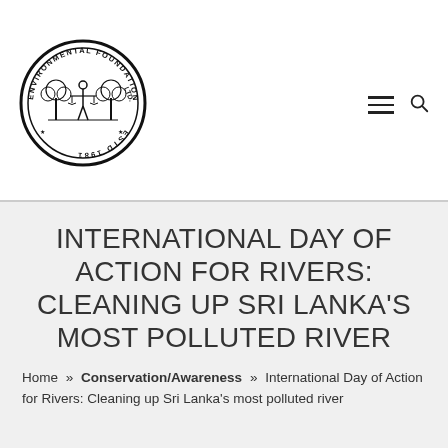[Figure (logo): Environmental Foundation Ltd circular seal logo with tree, scales of justice figure, ESTD 1981, black and white]
INTERNATIONAL DAY OF ACTION FOR RIVERS: CLEANING UP SRI LANKA'S MOST POLLUTED RIVER
Home » Conservation/Awareness » International Day of Action for Rivers: Cleaning up Sri Lanka's most polluted river